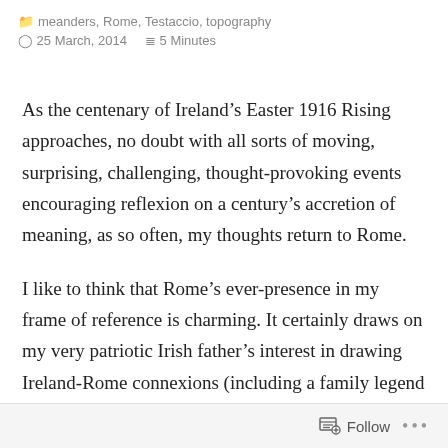🗂 meanders, Rome, Testaccio, topography
⏱ 25 March, 2014   ≡ 5 Minutes
As the centenary of Ireland's Easter 1916 Rising approaches, no doubt with all sorts of moving, surprising, challenging, thought-provoking events encouraging reflexion on a century's accretion of meaning, as so often, my thoughts return to Rome.
I like to think that Rome's ever-presence in my frame of reference is charming. It certainly draws on my very patriotic Irish father's interest in drawing Ireland-Rome connexions (including a family legend of a long-ago Spencer who fled to Rome with a
Follow  •••